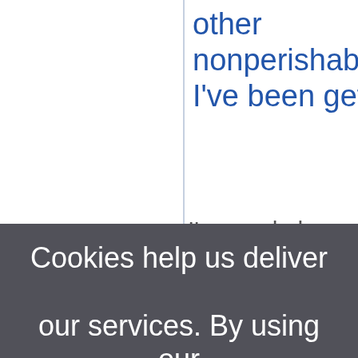other nonperishable/stora I've been getting.
I've made homebrew ou
Cookies help us deliver our services. By using our services, you agree to our use of cookies. Learn more
[Figure (screenshot): Cookie consent banner overlay on a webpage. The banner has a dark grey background and displays the text: 'Cookies help us deliver our services. By using our services, you agree to our use of cookies. Learn more' with a blue 'Learn more' hyperlink and an 'OK' button in blue.]